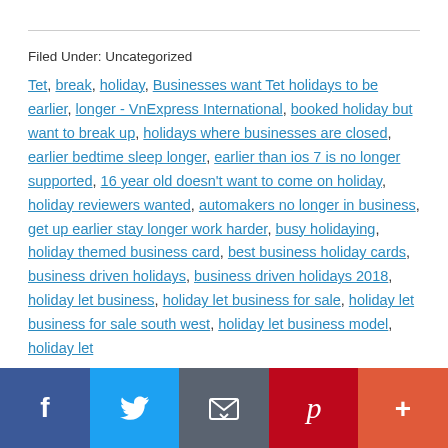Filed Under: Uncategorized
Tet, break, holiday, Businesses want Tet holidays to be earlier, longer - VnExpress International, booked holiday but want to break up, holidays where businesses are closed, earlier bedtime sleep longer, earlier than ios 7 is no longer supported, 16 year old doesn't want to come on holiday, holiday reviewers wanted, automakers no longer in business, get up earlier stay longer work harder, busy holidaying, holiday themed business card, best business holiday cards, business driven holidays, business driven holidays 2018, holiday let business, holiday let business for sale, holiday let business for sale south west, holiday let business model, holiday let